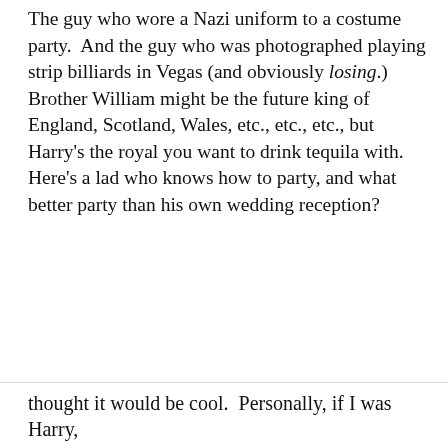The guy who wore a Nazi uniform to a costume party. And the guy who was photographed playing strip billiards in Vegas (and obviously losing.) Brother William might be the future king of England, Scotland, Wales, etc., etc., etc., but Harry's the royal you want to drink tequila with. Here's a lad who knows how to party, and what better party than his own wedding reception?
[Figure (other): Pocket Casts advertisement banner: 'The go-to app for podcast lovers.' with Pocket Casts logo]
REPORT THIS AD
Privacy & Cookies: This site uses cookies. By continuing to use this website, you agree to their use. To find out more, including how to control cookies, see here: Cookie Policy
Close and accept
thought it would be cool. Personally, if I was Harry,